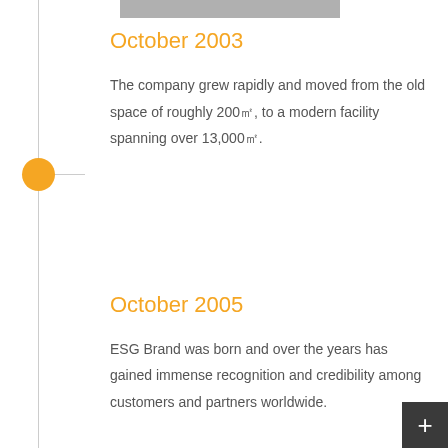October 2003
The company grew rapidly and moved from the old space of roughly 200㎡, to a modern facility spanning over 13,000㎡.
October 2005
ESG Brand was born and over the years has gained immense recognition and credibility among customers and partners worldwide.